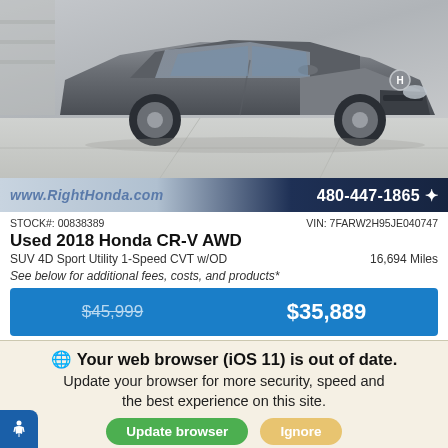[Figure (photo): Honda CR-V AWD SUV shown from front-right angle, dark gray/graphite color, photographed in a dealership lot]
www.RightHonda.com   480-447-1865
STOCK#: 00838389   VIN: 7FARW2H95JE040747
Used 2018 Honda CR-V AWD
SUV 4D Sport Utility 1-Speed CVT w/OD   16,694 Miles
See below for additional fees, costs, and products*
$45,999   $35,889
Your web browser (iOS 11) is out of date.
Update your browser for more security, speed and the best experience on this site.
Update browser   Ignore